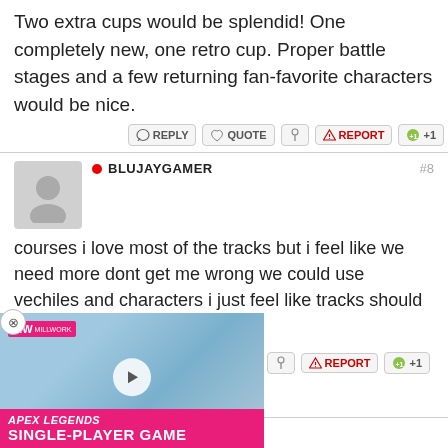Two extra cups would be splendid! One completely new, one retro cup. Proper battle stages and a few returning fan-favorite characters would be nice.
REPLY  QUOTE  REPORT  +1
BLUJAYGAMER  #8
courses i love most of the tracks but i feel like we need more dont get me wrong we could use vechiles and characters i just feel like tracks should be first
REPLY  QUOTE  REPORT  +1
[Figure (screenshot): Advertisement for Apex Legends Single-Player Game with MW logo and play button overlay]
and logged in, you can